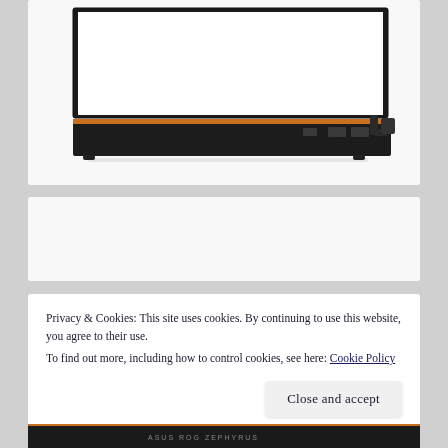[Figure (photo): Side view of a laptop showing the right edge with ports including USB and other connectors, with a copper/orange accent strip along the bottom edge, black lid partially open]
[Figure (photo): Partial view of a laptop, mostly white/blank area, second image card]
Privacy & Cookies: This site uses cookies. By continuing to use this website, you agree to their use.
To find out more, including how to control cookies, see here: Cookie Policy
[Figure (photo): Partial bottom view of a laptop showing the bottom edge with branding text, dark chassis]